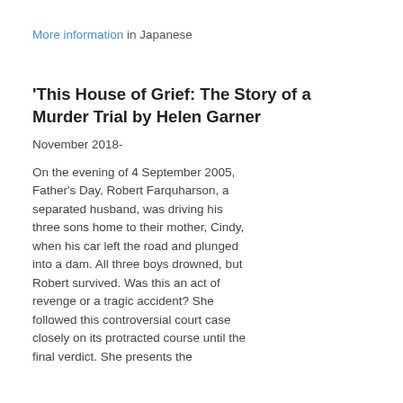More information in Japanese
'This House of Grief: The Story of a Murder Trial by Helen Garner
November 2018-
On the evening of 4 September 2005, Father’s Day, Robert Farquharson, a separated husband, was driving his three sons home to their mother, Cindy, when his car left the road and plunged into a dam. All three boys drowned, but Robert survived. Was this an act of revenge or a tragic accident? She followed this controversial court case closely on its protracted course until the final verdict. She presents the